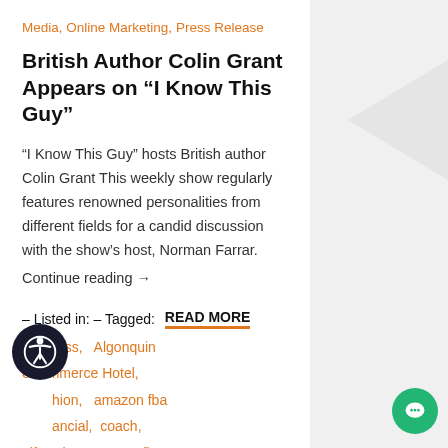Media, Online Marketing, Press Release
British Author Colin Grant Appears on “I Know This Guy”
“I Know This Guy” hosts British author Colin Grant This weekly show regularly features renowned personalities from different fields for a candid discussion with the show’s host, Norman Farrar. Continue reading →
– Listed in:  – Tagged:  READ MORE
Business, Algonquin eCommerce Hotel, fashion, amazon fba financial, coach, Lifestyle, amazon fba Marketing, coach and